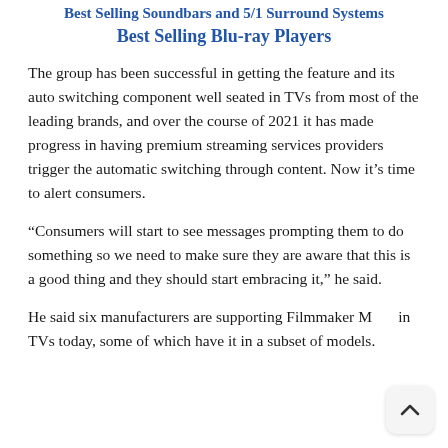Best Selling Soundbars and 5/1 Surround Systems
Best Selling Blu-ray Players
The group has been successful in getting the feature and its auto switching component well seated in TVs from most of the leading brands, and over the course of 2021 it has made progress in having premium streaming services providers trigger the automatic switching through content. Now it's time to alert consumers.
“Consumers will start to see messages prompting them to do something so we need to make sure they are aware that this is a good thing and they should start embracing it,” he said.
He said six manufacturers are supporting Filmmaker Mode in TVs today, some of which have it in a subset of models.